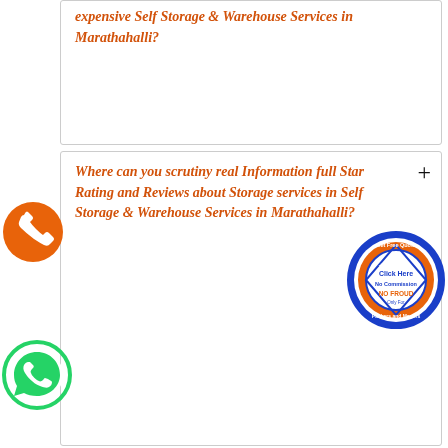expensive Self Storage & Warehouse Services in Marathahalli?
Where can you scrutiny real Information full Star Rating and Reviews about Storage services in Self Storage & Warehouse Services in Marathahalli?
how mach benefit of Self Storage & Warehouse Services in Marathahalli services will Storage services in Self Storage & Warehouse Services in Marathahalli city I get by choosed Transport firm
at entire information regarding to ask Storage ices in Self Storage & Warehouse Services in Marathahalli before hiring them?
[Figure (illustration): Orange circle with phone handset icon]
[Figure (illustration): Green circle WhatsApp icon]
[Figure (illustration): Circular badge: Get Free Quote, Click Here, No Commission, NO FROUD, Only For Packers and Movers]